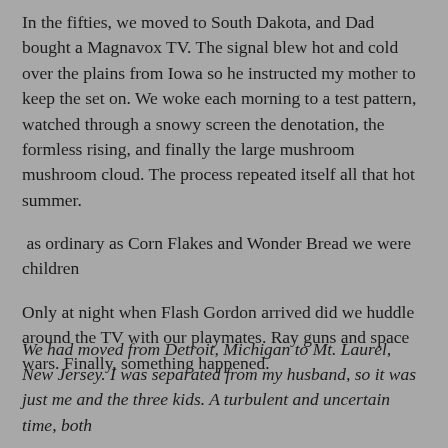In the fifties, we moved to South Dakota, and Dad bought a Magnavox TV. The signal blew hot and cold over the plains from Iowa so he instructed my mother to keep the set on. We woke each morning to a test pattern, watched through a snowy screen the denotation, the formless rising, and finally the large mushroom mushroom cloud. The process repeated itself all that hot summer.
as ordinary as Corn Flakes and Wonder Bread we were children
Only at night when Flash Gordon arrived did we huddle around the TV with our playmates. Ray guns and space wars. Finally, something happened.
We had moved from Detroit, Michigan to Mt. Laurel, New Jersey. I was separated from my husband, so it was just me and the three kids. A turbulent and uncertain time, both